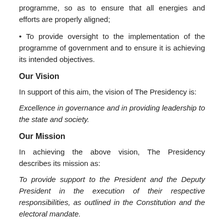programme, so as to ensure that all energies and efforts are properly aligned;
• To provide oversight to the implementation of the programme of government and to ensure it is achieving its intended objectives.
Our Vision
In support of this aim, the vision of The Presidency is:
Excellence in governance and in providing leadership to the state and society.
Our Mission
In achieving the above vision, The Presidency describes its mission as:
To provide support to the President and the Deputy President in the execution of their respective responsibilities, as outlined in the Constitution and the electoral mandate.
Our Mo